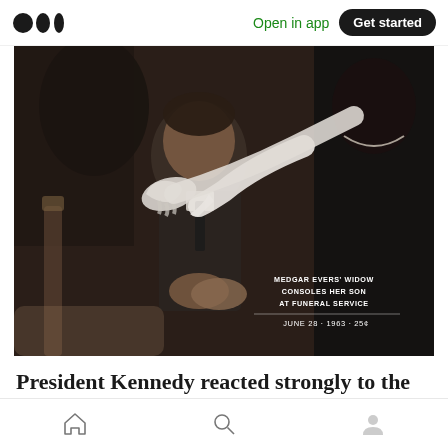Medium app header with logo, Open in app, Get started button
[Figure (photo): Historical photograph showing Medgar Evers' widow consoling her son at a funeral service. A woman in black wearing white gloves places her hands on the shoulders of a young boy in a dark suit who is looking downward with grief. The image appears to be a magazine cover or news photo. Caption overlay reads: MEDGAR EVERS' WIDOW CONSOLES HER SON AT FUNERAL SERVICE. Date bar reads: JUNE 28 · 1963 · 25¢]
MEDGAR EVERS' WIDOW CONSOLES HER SON AT FUNERAL SERVICE
JUNE 28 · 1963 · 25¢
President Kennedy reacted strongly to the news
Home · Search · Profile — bottom navigation bar